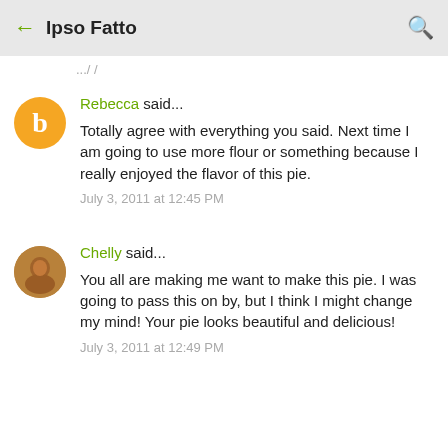Ipso Fatto
...
Rebecca said...
Totally agree with everything you said. Next time I am going to use more flour or something because I really enjoyed the flavor of this pie.
July 3, 2011 at 12:45 PM
Chelly said...
You all are making me want to make this pie. I was going to pass this on by, but I think I might change my mind! Your pie looks beautiful and delicious!
July 3, 2011 at 12:49 PM